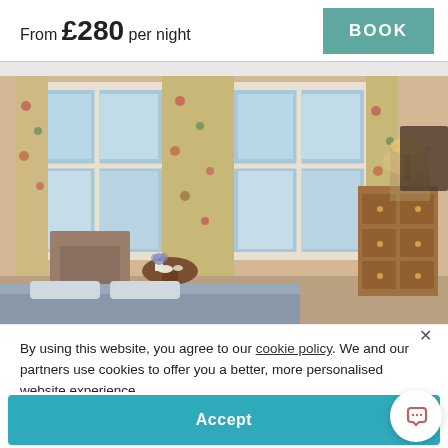From £280 per night
BOOK
[Figure (photo): Hotel room interior with large windows overlooking the sea, floral curtains, wooden dresser, armchairs and a small round table with tea set]
By using this website, you agree to our cookie policy. We and our partners use cookies to offer you a better, more personalised website experience.
Accept